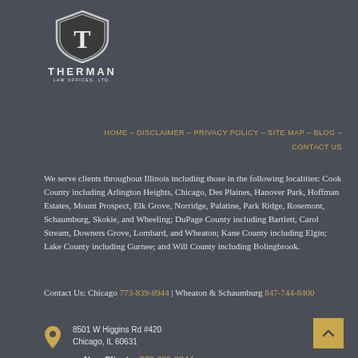[Figure (logo): Therman Law Offices, Ltd. shield logo with T emblem, white on dark background]
HOME – DISCLAIMER – PRIVACY POLICY – SITE MAP – BLOG – CONTACT US
We serve clients throughout Illinois including those in the following localities: Cook County including Arlington Heights, Chicago, Des Plaines, Hanover Park, Hoffman Estates, Mount Prospect, Elk Grove, Norridge, Palatine, Park Ridge, Rosemont, Schaumburg, Skokie, and Wheeling; DuPage County including Bartlett, Carol Stream, Downers Grove, Lombard, and Wheaton; Kane County including Elgin; Lake County including Gurnee; and Will County including Bolingbrook.
Contact Us: Chicago 773-839-8944 | Wheaton & Schaumburg 847-744-8400
8501 W Higgins Rd #420
Chicago, IL 60631
New Clients: 773-839-8944
Existing Clients: 773-545-8849